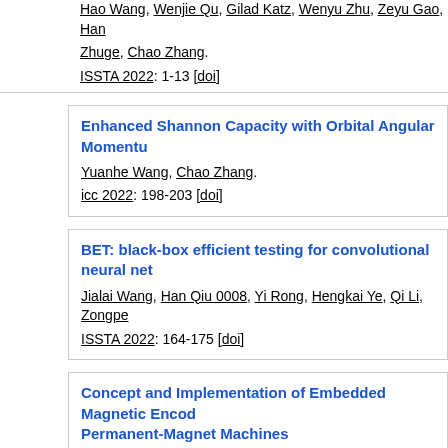Hao Wang, Wenjie Qu, Gilad Katz, Wenyu Zhu, Zeyu Gao, Han Zhuge, Chao Zhang.
ISSTA 2022: 1-13 [doi]
Enhanced Shannon Capacity with Orbital Angular Momentu...
Yuanhe Wang, Chao Zhang.
icc 2022: 198-203 [doi]
BET: black-box efficient testing for convolutional neural ne...
Jialai Wang, Han Qiu 0008, Yi Rong, Hengkai Ye, Qi Li, Zongpe...
ISSTA 2022: 164-175 [doi]
Concept and Implementation of Embedded Magnetic Encod... Permanent-Magnet Machines
Yuchen Wang, Wei Hua, Chao Zhang, Zheng Wu, Hengliang Zh... tie, 69(11):11796-11806, 2022. [doi]
Model Predictive Control Using Artificial Neural Network for...